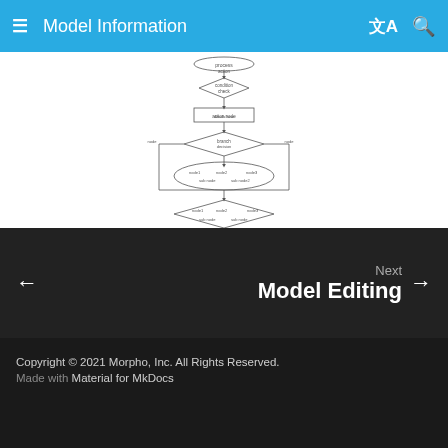Model Information
[Figure (flowchart): A flowchart diagram showing model inception structure with diamond decision nodes and rectangular process nodes connected by arrows, forming a vertical chain with branching.]
inception.png
Next
Model Editing
Copyright © 2021 Morpho, Inc. All Rights Reserved.
Made with Material for MkDocs